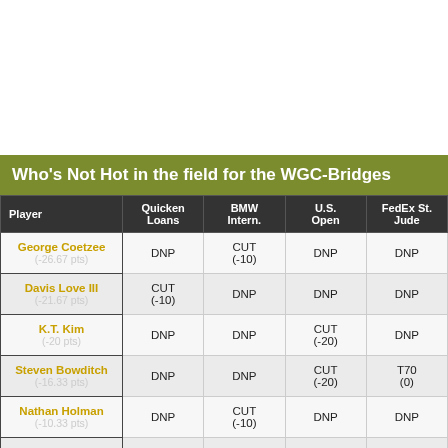Who's Not Hot in the field for the WGC-Bridges
| Player | Quicken Loans | BMW Intern. | U.S. Open | FedEx St. Jude |
| --- | --- | --- | --- | --- |
| George Coetzee (-26.67 pts) | DNP | CUT (-10) | DNP | DNP |
| Davis Love III (-21.67 pts) | CUT (-10) | DNP | DNP | DNP |
| K.T. Kim (-20 pts) | DNP | DNP | CUT (-20) | DNP |
| Steven Bowditch (-16.33 pts) | DNP | DNP | CUT (-20) | T70 (0) |
| Nathan Holman (-10.33 pts) | DNP | CUT (-10) | DNP | DNP |
| Paul Casey (-10.17 pts) | DNP | DNP | CUT (-20) | DNP |